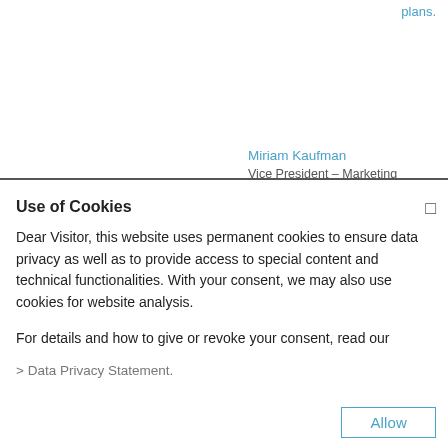plans.
Miriam Kaufman
Vice President – Marketing
Use of Cookies
Dear Visitor, this website uses permanent cookies to ensure data privacy as well as to provide access to special content and technical functionalities. With your consent, we may also use cookies for website analysis.
For details and how to give or revoke your consent, read our
> Data Privacy Statement.
Allow